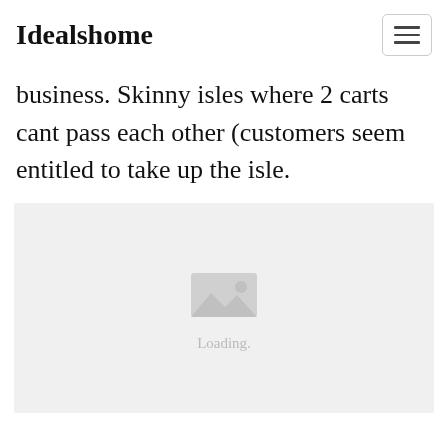Idealshome
business. Skinny isles where 2 carts cant pass each other (customers seem entitled to take up the isle.
[Figure (photo): Image placeholder with loading icon and 'Loading.' text on a light grey background]